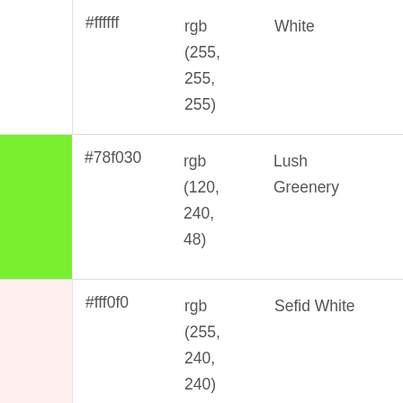| Color Swatch | Hex | RGB | Name |
| --- | --- | --- | --- |
| (white) | #ffffff | rgb(255, 255, 255) | White |
| (green) | #78f030 | rgb(120, 240, 48) | Lush Greenery |
| (pink) | #fff0f0 | rgb(255, 240, 240) | Sefid White |